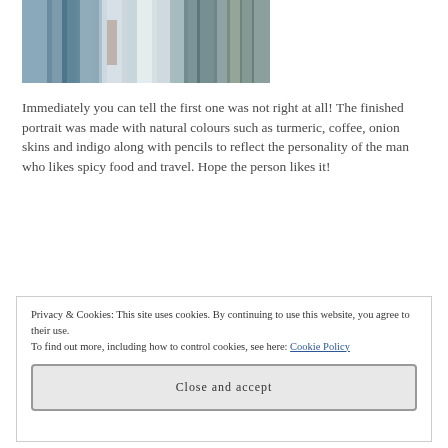[Figure (photo): Close-up of a watercolour/natural dye painting showing streaks of blue, teal, green and brown colours resembling a portrait detail]
Immediately you can tell the first one was not right at all!  The finished portrait was made with natural colours such as turmeric, coffee, onion skins and indigo along with pencils to reflect the personality of the man who likes spicy food and travel.  Hope the person likes it!
Privacy & Cookies: This site uses cookies. By continuing to use this website, you agree to their use.
To find out more, including how to control cookies, see here: Cookie Policy
Close and accept